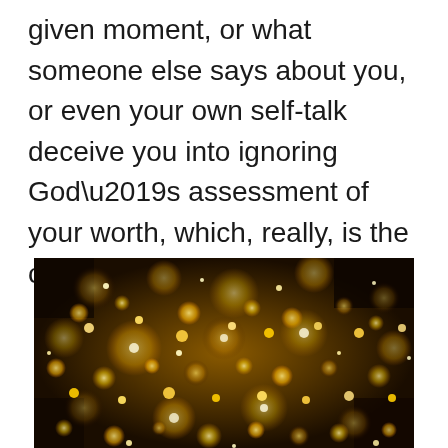given moment, or what someone else says about you, or even your own self-talk deceive you into ignoring God’s assessment of your worth, which, really, is the only one that matters.
[Figure (photo): Close-up bokeh photo of golden/yellow circular lights against a dark background, resembling glowing orbs or fairy lights.]